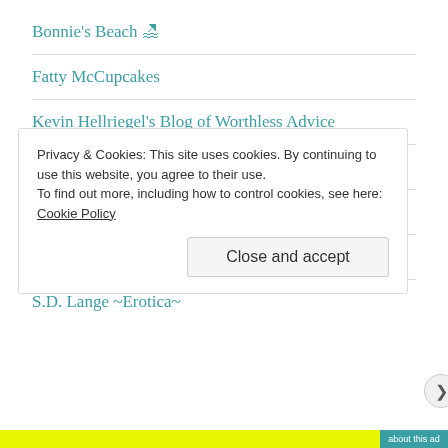Bonnie's Beach 🏖
Fatty McCupcakes
Kevin Hellriegel's Blog of Worthless Advice
Erotica Stories - Drafts for Beta Readers
Erotica Readers & Writers Association
Alaska Airlines Blog
S.D. Lange ~Erotica~
Privacy & Cookies: This site uses cookies. By continuing to use this website, you agree to their use. To find out more, including how to control cookies, see here: Cookie Policy
Close and accept